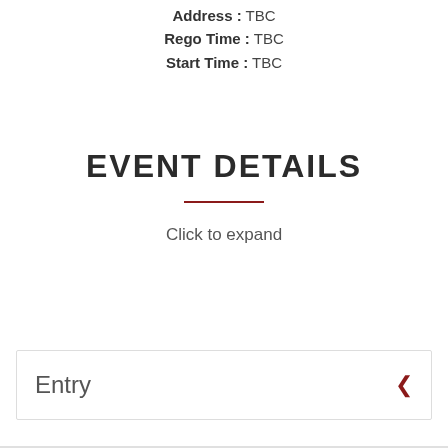Address : TBC
Rego Time : TBC
Start Time : TBC
EVENT DETAILS
Click to expand
Entry